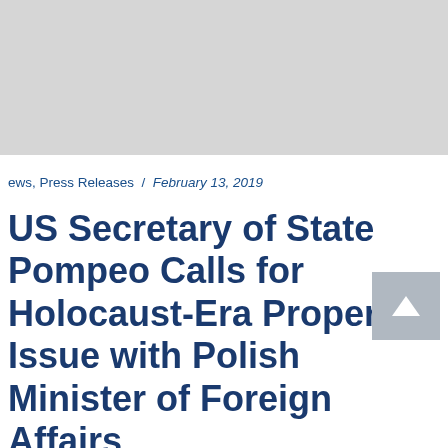[Figure (other): Gray banner/header image area at top of webpage]
ews, Press Releases / February 13, 2019
US Secretary of State Pompeo Calls for Holocaust-Era Property Issue with Polish Minister of Foreign Affairs
alls for Poland to Endorse Legislation for Property Compensation (New York, NY) February 13, 2019: In a